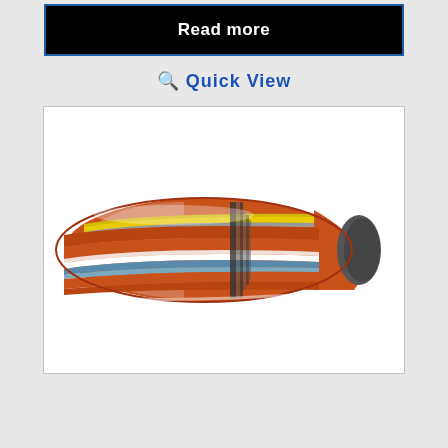Read more
Quick View
[Figure (illustration): Cross-section illustration of a hunting/rifle bullet showing internal layers: orange copper jacket, yellow and gray stripes, blue band, dark gray tip, transparent cutaway revealing internal structure with white and shaded sections.]